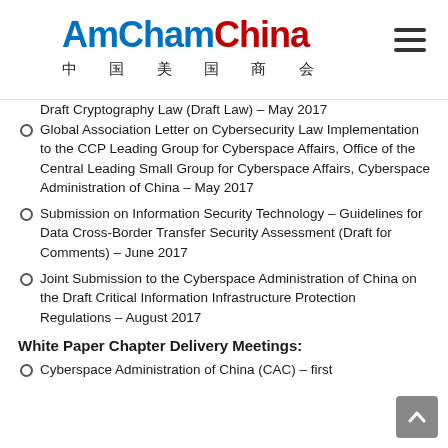AmCham China 中 国 美 国 商 会
Draft Cryptography Law (Draft Law) – May 2017
Global Association Letter on Cybersecurity Law Implementation to the CCP Leading Group for Cyberspace Affairs, Office of the Central Leading Small Group for Cyberspace Affairs, Cyberspace Administration of China – May 2017
Submission on Information Security Technology – Guidelines for Data Cross-Border Transfer Security Assessment (Draft for Comments) – June 2017
Joint Submission to the Cyberspace Administration of China on the Draft Critical Information Infrastructure Protection Regulations – August 2017
White Paper Chapter Delivery Meetings:
Cyberspace Administration of China (CAC) – first